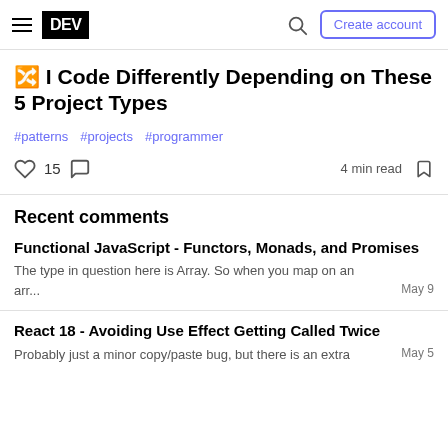DEV  Create account
🔀 I Code Differently Depending on These 5 Project Types
#patterns  #projects  #programmer
♡ 15  💬  4 min read  🔖
Recent comments
Functional JavaScript - Functors, Monads, and Promises
The type in question here is Array. So when you map on an arr...  May 9
React 18 - Avoiding Use Effect Getting Called Twice
Probably just a minor copy/paste bug, but there is an extra  May 5